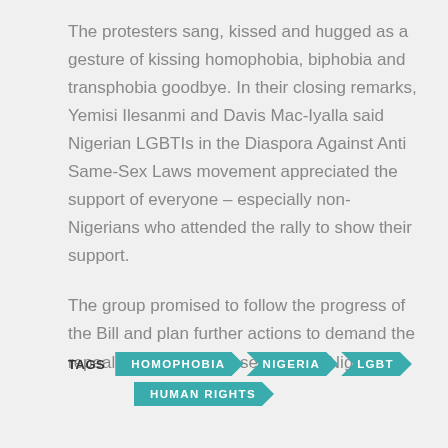The protesters sang, kissed and hugged as a gesture of kissing homophobia, biphobia and transphobia goodbye. In their closing remarks, Yemisi Ilesanmi and Davis Mac-Iyalla said Nigerian LGBTIs in the Diaspora Against Anti Same-Sex Laws movement appreciated the support of everyone – especially non-Nigerians who attended the rally to show their support.
The group promised to follow the progress of the Bill and plan further actions to demand the repeal of all anti same-sex laws in Nigeria.
TAGS: HOMOPHOBIA, NIGERIA, LGBT, HUMAN RIGHTS